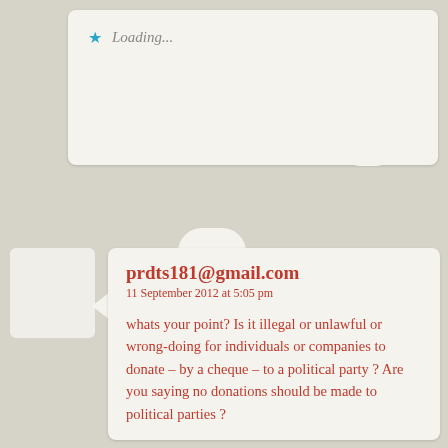Loading...
prdts181@gmail.com
11 September 2012 at 5:05 pm

whats your point? Is it illegal or unlawful or wrong-doing for individuals or companies to donate – by a cheque – to a political party ? Are you saying no donations should be made to political parties ?
Loading...